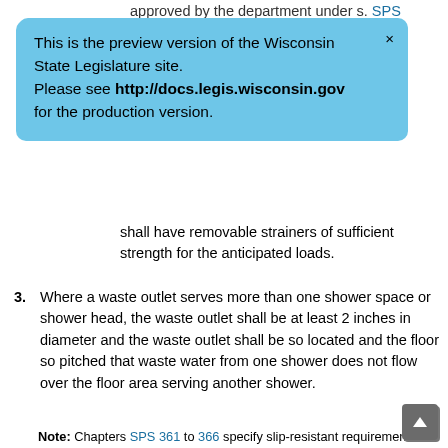approved by the department under s. SPS 384.10.
[Figure (screenshot): Blue banner notification: 'This is the preview version of the Wisconsin State Legislature site. Please see http://docs.legis.wisconsin.gov for the production version.' with an X close button in the top right.]
shall have removable strainers of sufficient strength for the anticipated loads.
3. Where a waste outlet serves more than one shower space or shower head, the waste outlet shall be at least 2 inches in diameter and the waste outlet shall be so located and the floor so pitched that waste water from one shower does not flow over the floor area serving another shower.
Note: Chapters SPS 361 to 366 specify slip-resistant requirements for shower rooms and compartments in public buildings and places of employment.
4. All shower compartments, regardless of shape, shall have a minimum finished interior of 900 square inches and shall be capable of encompassing a circle with a diameter of 30 inches. The minimum required area and dimension shall be measured in a horizontal plane 24 inches above the top of the threshold and may not extend beyond the centerline of the threshold. The minimum area and dimensions shall be maintained to a point 70 inches above the shower waste outlet with no protrusions oth...